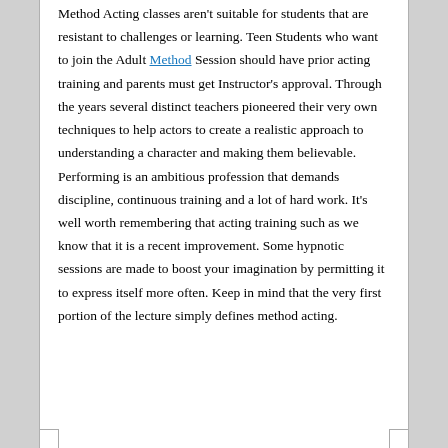Method Acting classes aren't suitable for students that are resistant to challenges or learning. Teen Students who want to join the Adult Method Session should have prior acting training and parents must get Instructor's approval. Through the years several distinct teachers pioneered their very own techniques to help actors to create a realistic approach to understanding a character and making them believable. Performing is an ambitious profession that demands discipline, continuous training and a lot of hard work. It's well worth remembering that acting training such as we know that it is a recent improvement. Some hypnotic sessions are made to boost your imagination by permitting it to express itself more often. Keep in mind that the very first portion of the lecture simply defines method acting.